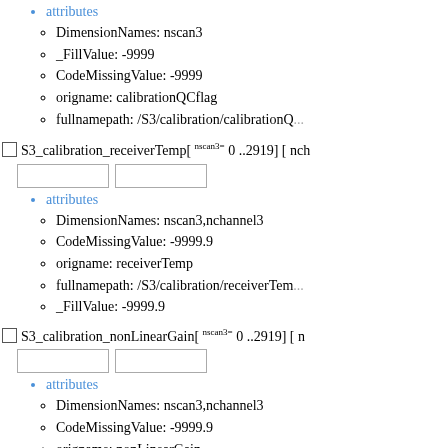attributes
DimensionNames: nscan3
_FillValue: -9999
CodeMissingValue: -9999
origname: calibrationQCflag
fullnamepath: /S3/calibration/calibrationQCflag (truncated)
S3_calibration_receiverTemp[ nscan3= 0 ..2919] [ nch...
attributes
DimensionNames: nscan3,nchannel3
CodeMissingValue: -9999.9
origname: receiverTemp
fullnamepath: /S3/calibration/receiverTemp (truncated)
_FillValue: -9999.9
S3_calibration_nonLinearGain[ nscan3= 0 ..2919] [ n...
attributes
DimensionNames: nscan3,nchannel3
CodeMissingValue: -9999.9
origname: nonLinearGain